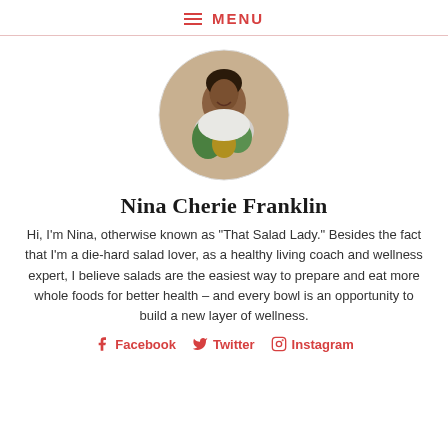≡ MENU
[Figure (photo): Circular profile photo of Nina Cherie Franklin, a smiling woman holding fresh vegetables and pineapple]
Nina Cherie Franklin
Hi, I'm Nina, otherwise known as "That Salad Lady." Besides the fact that I'm a die-hard salad lover, as a healthy living coach and wellness expert, I believe salads are the easiest way to prepare and eat more whole foods for better health – and every bowl is an opportunity to build a new layer of wellness.
Facebook  Twitter  Instagram